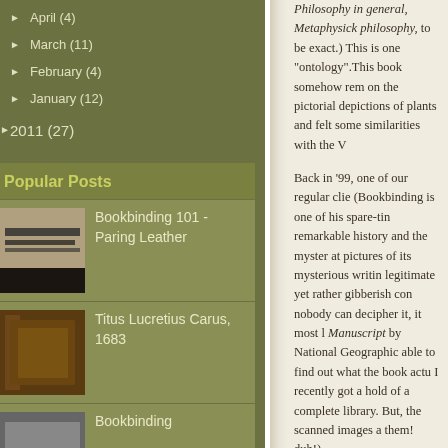April (4)
March (11)
February (4)
January (12)
2011 (27)
Popular Posts
Bookbinding 101 - Paring Leather
Titus Lucretius Carus, 1683
Bookbinding
Philosophy in general, Metaphysick philosophy, to be exact.) This is one "ontology".This book somehow rem on the pictorial depictions of plants and felt some similarities with the V

Back in '99, one of our regular clie (Bookbinding is one of his spare-tin remarkable history and the myster at pictures of its mysterious writin legitimate yet rather gibberish con nobody can decipher it, it most l Manuscript by National Geographic able to find out what the book actu I recently got a hold of a complete library. But, the scanned images a them! duh!)

Anyway, the client of this book aske of the original headbands, they use headbands. The top of the title pa mending paper, which didn't quite without mending paper, I took som